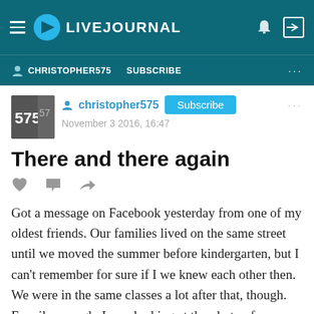LIVEJOURNAL
CHRISTOPHER575   SUBSCRIBE   ...
[Figure (screenshot): User avatar thumbnail showing number 575]
christopher575   Subscribe   November 3 2016, 16:47
There and there again
Got a message on Facebook yesterday from one of my oldest friends. Our families lived on the same street until we moved the summer before kindergarten, but I can't remember for sure if I we knew each other then. We were in the same classes a lot after that, though. Funnily enough, I was looking at the photo of my new tattoo on